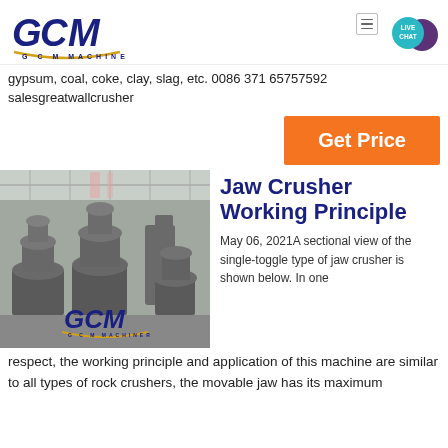[Figure (logo): GCM Machinery logo with stylized GCM lettering and arc underline]
gypsum, coal, coke, clay, slag, etc. 0086 371 65757592
salesgreatwallcrusher
[Figure (other): Live Chat speech bubble icon in teal]
[Figure (other): Get Price orange button]
[Figure (photo): Industrial machinery (cone crushers) in a factory/warehouse, with GCM Machinery logo overlay at bottom]
Jaw Crusher Working Principle
May 06, 2021A sectional view of the single-toggle type of jaw crusher is shown below. In one
respect, the working principle and application of this machine are similar to all types of rock crushers, the movable jaw has its maximum